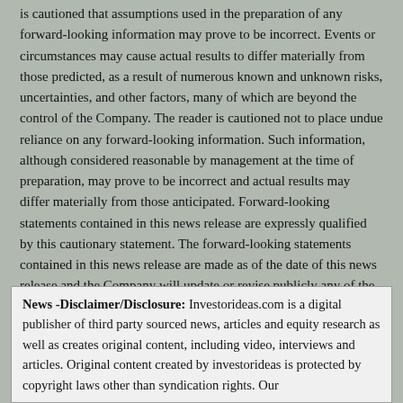is cautioned that assumptions used in the preparation of any forward-looking information may prove to be incorrect. Events or circumstances may cause actual results to differ materially from those predicted, as a result of numerous known and unknown risks, uncertainties, and other factors, many of which are beyond the control of the Company. The reader is cautioned not to place undue reliance on any forward-looking information. Such information, although considered reasonable by management at the time of preparation, may prove to be incorrect and actual results may differ materially from those anticipated. Forward-looking statements contained in this news release are expressly qualified by this cautionary statement. The forward-looking statements contained in this news release are made as of the date of this news release and the Company will update or revise publicly any of the included forward-looking statements only as expressly required by applicable law.
Neither the Toronto Stock Exchange (TSX) nor its Regulation Services Provider (as that term is defined in policies of the TSX) accepts responsibility for the adequacy or accuracy of this release.
News -Disclaimer/Disclosure: Investorideas.com is a digital publisher of third party sourced news, articles and equity research as well as creates original content, including video, interviews and articles. Original content created by investorideas is protected by copyright laws other than syndication rights. Our